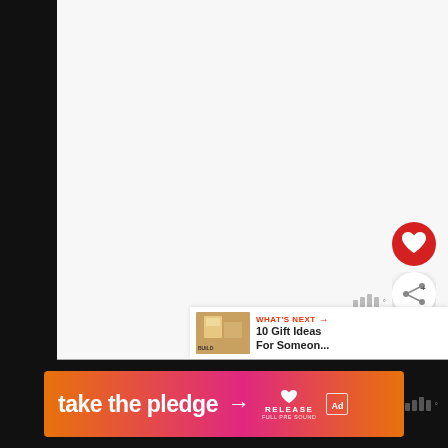[Figure (screenshot): App UI screenshot showing a mostly white/blank content area with dark left sidebar, a red heart/favorite button, a share button, a weather widget, and a 'What's Next' next-item panel at bottom right.]
[Figure (infographic): Bottom banner advertisement: orange-to-pink gradient 'take the pledge' banner with arrow, RELEASE logo with heart, and ad indicator icon on black background.]